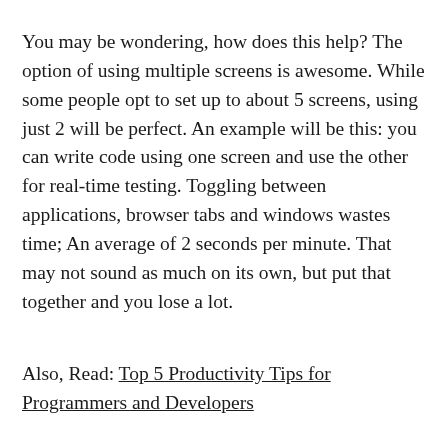You may be wondering, how does this help? The option of using multiple screens is awesome. While some people opt to set up to about 5 screens, using just 2 will be perfect. An example will be this: you can write code using one screen and use the other for real-time testing. Toggling between applications, browser tabs and windows wastes time; An average of 2 seconds per minute. That may not sound as much on its own, but put that together and you lose a lot.
Also, Read: Top 5 Productivity Tips for Programmers and Developers